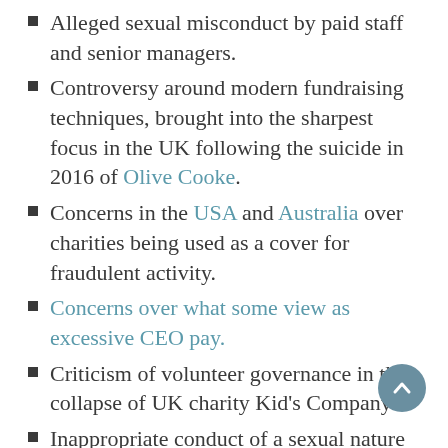Alleged sexual misconduct by paid staff and senior managers.
Controversy around modern fundraising techniques, brought into the sharpest focus in the UK following the suicide in 2016 of Olive Cooke.
Concerns in the USA and Australia over charities being used as a cover for fraudulent activity.
Concerns over what some view as excessive CEO pay.
Criticism of volunteer governance in the collapse of UK charity Kid's Company.
Inappropriate conduct of a sexual nature by volunteers .
Controversy over volunteer support for LGBTQ rights.
Efforts by the UK government to limit